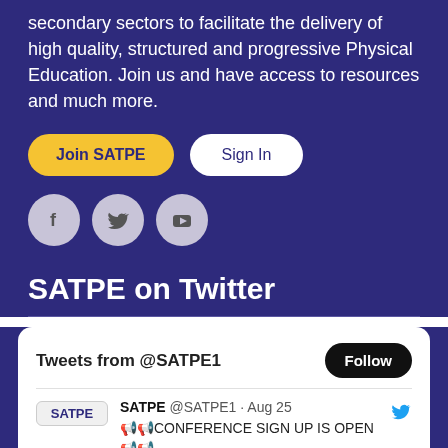secondary sectors to facilitate the delivery of high quality, structured and progressive Physical Education. Join us and have access to resources and much more.
Join SATPE | Sign In
[Figure (infographic): Three social media icon buttons: Facebook (f), Twitter (bird), and YouTube (play button), displayed as circular grey buttons on purple background]
SATPE on Twitter
[Figure (screenshot): Twitter widget showing 'Tweets from @SATPE1' with a Follow button and a tweet from SATPE @SATPE1 dated Aug 25 saying CONFERENCE SIGN UP IS OPEN with megaphone emojis]